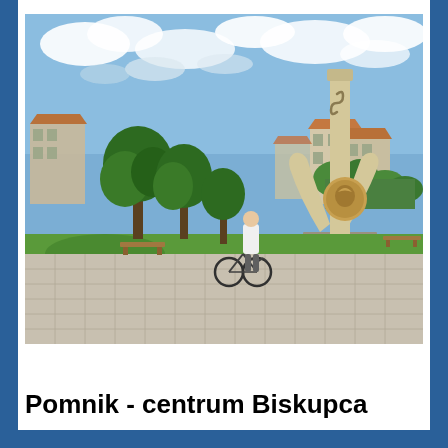[Figure (photo): Outdoor urban plaza with a large monument featuring a Y-shaped concrete structure with a circular emblem. A person with a bicycle walks along a paved path toward the monument. Green trees, grass, benches, and residential buildings visible in the background under a partly cloudy blue sky.]
Pomnik - centrum Biskupca